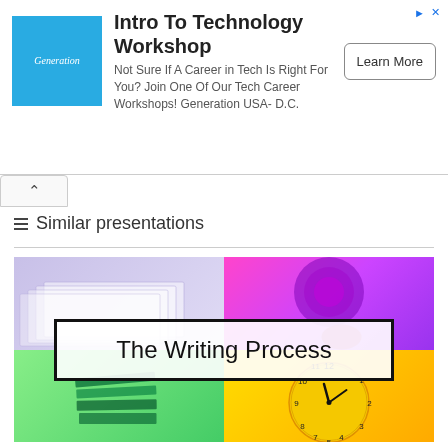[Figure (infographic): Advertisement banner for 'Intro To Technology Workshop' by Generation USA D.C. with blue logo, text, and 'Learn More' button]
≡ Similar presentations
[Figure (screenshot): Presentation thumbnail with four colored quadrants (purple with papers, pink/purple with swirl, green with books, yellow with clock) and centered title box reading 'The Writing Process']